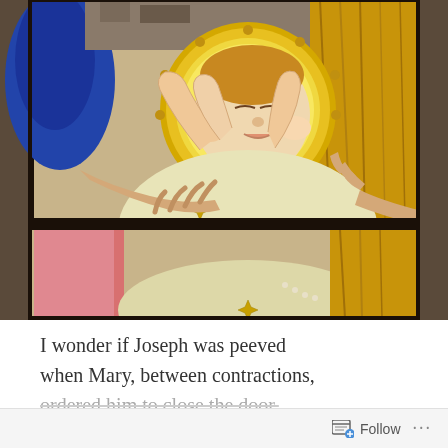[Figure (illustration): A stained glass window depicting the infant Jesus (baby with a halo/nimbus) being held or presented, with adult hands visible cradling the child. The infant is shown in cream/white swaddling clothes decorated with gold star motifs. A golden sunburst halo surrounds the child's head. Visible colors include deep blue (robe at left), pink/rose fabric, cream/ivory and gold tones. The image is split by a dark horizontal bar (lead came) roughly two-thirds down.]
I wonder if Joseph was peeved when Mary, between contractions, ordered him to close the door.
Follow ···